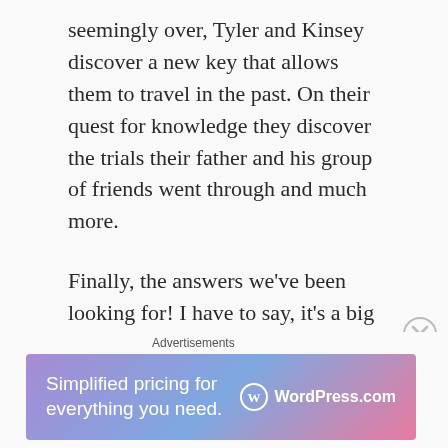seemingly over, Tyler and Kinsey discover a new key that allows them to travel in the past. On their quest for knowledge they discover the trials their father and his group of friends went through and much more.
Finally, the answers we've been looking for! I have to say, it's a big relief to find out what really happened all those years ago, and the ride was epic!
This time, the characters were quite a bit
[Figure (screenshot): Advertisement banner: 'Simplified pricing for everything you need.' with WordPress.com logo on gradient purple-pink background]